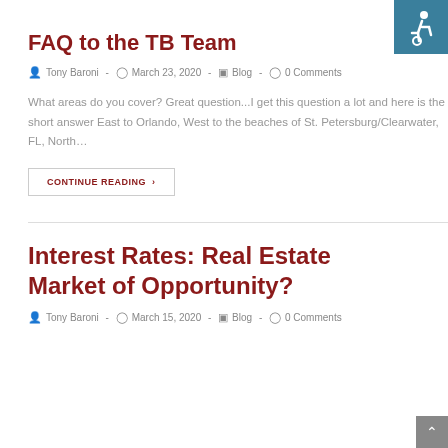[Figure (illustration): Accessibility icon (wheelchair symbol) on teal/dark cyan background, top-right corner]
FAQ to the TB Team
Tony Baroni  -  March 23, 2020  -  Blog  -  0 Comments
What areas do you cover? Great question...I get this question a lot and here is the short answer East to Orlando, West to the beaches of St. Petersburg/Clearwater, FL, North…
CONTINUE READING  ›
Interest Rates: Real Estate Market of Opportunity?
Tony Baroni  -  March 15, 2020  -  Blog  -  0 Comments